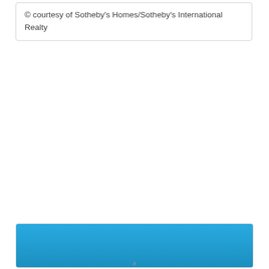© courtesy of Sotheby's Homes/Sotheby's International Realty
[Figure (photo): Blue banner/image placeholder — a solid bright blue rectangle, likely a property photo from Sotheby's Homes/Sotheby's International Realty.]